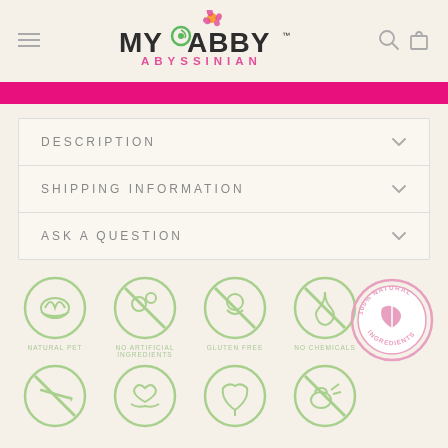[Figure (logo): My Abby Abyssinian brand logo with decorative cat icon above text. Hamburger menu icon on left, search and cart icons on right.]
DESCRIPTION
SHIPPING INFORMATION
ASK A QUESTION
[Figure (infographic): Row of circular green icons: natural pet, no artificial ingredients, gluten free, no chemicals. Second row: no needles, cruelty free, organic ingredients, no animal testing. Pink '100% Natural Ingredients' badge on right.]